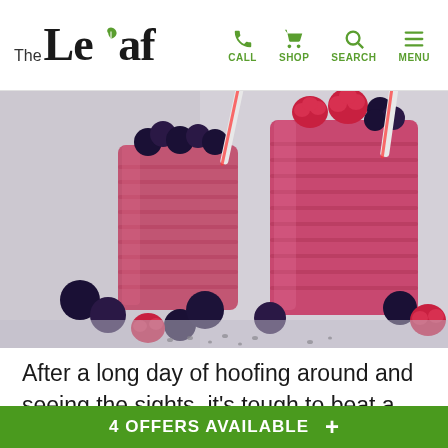The Leaf — CALL SHOP SEARCH MENU
[Figure (photo): Two glasses of pink berry smoothie topped with blueberries and raspberries, with red and white striped straws, surrounded by scattered blueberries, raspberries, and chia seeds on a light gray surface.]
After a long day of hoofing around and seeing the sights, it's tough to beat a smoothie to refresh and refuel. But don't let liquid calories undo all that exercise from your day of moving. Save some for a vacation-
4 OFFERS AVAILABLE +